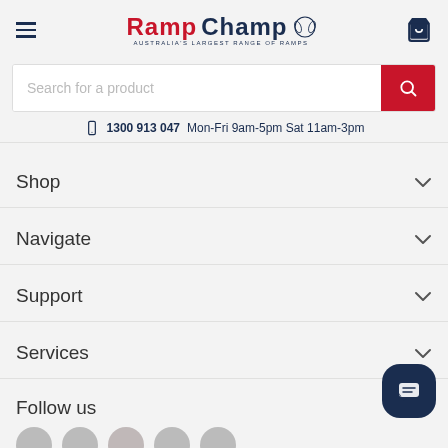[Figure (logo): RampChamp logo with red RAMP and dark blue CHAMP text, laurel wreath, tagline: AUSTRALIA'S LARGEST RANGE OF RAMPS]
[Figure (other): Search bar with placeholder text 'Search for a product' and red search button]
1300 913 047 Mon-Fri 9am-5pm Sat 11am-3pm
Shop
Navigate
Support
Services
Follow us